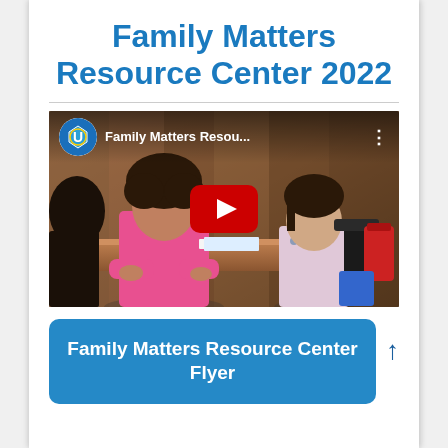Family Matters Resource Center 2022
[Figure (screenshot): YouTube video thumbnail showing two people sitting at a desk in an office setting. The video title bar shows 'Family Matters Resou...' with a school district logo circle and three-dot menu. A large red YouTube play button is centered on the video.]
Family Matters Resource Center Flyer